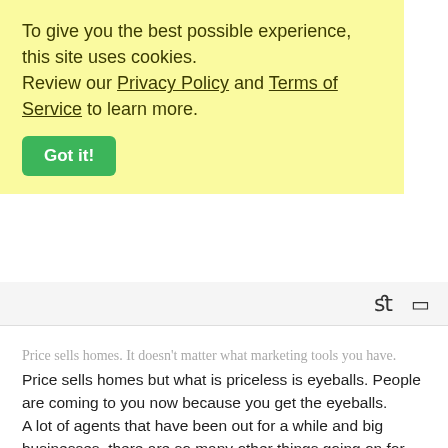To give you the best possible experience, this site uses cookies. Review our Privacy Policy and Terms of Service to learn more.
Got it!
Price sells homes. It doesn't matter what marketing tools you have. Price sells homes but what is priceless is eyeballs. People are coming to you now because you get the eyeballs. A lot of agents that have been out for a while and big businesses, there are so many other things going on for them. Tyler is starting to realize this service. That is why he has a team now built so they can help service all the clients. Tik Tok is the new door knocking, Tik Tok is the new fire. Tik Tok is the new everything. Tyler loves being on camera and stuff. His strategy is that he wanted to have a TV show on Netflix. That is kind of the next big thing that he wants to achieve. Take what other people are doing which is working, put your own